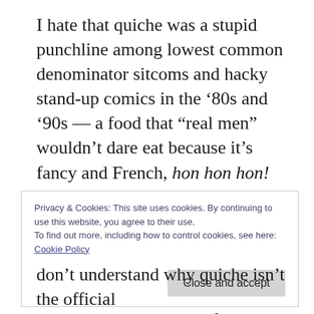I hate that quiche was a stupid punchline among lowest common denominator sitcoms and hacky stand-up comics in the ‘80s and ’90s — a food that “real men” wouldn’t dare eat because it’s fancy and French, hon hon hon! How ignorant and xenophobic can you get, with a little misogyny and homophobia baked in? What is quiche, but eggs, cheese, and often some kind of meat baked into a savory pie, in a buttery, flaky pie crust? If that isn’t a manly
Privacy & Cookies: This site uses cookies. By continuing to use this website, you agree to their use.
To find out more, including how to control cookies, see here: Cookie Policy

Close and accept
don’t understand why quiche isn’t the official